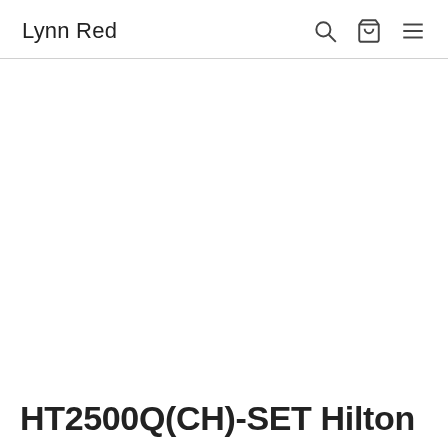Lynn Red
HT2500Q(CH)-SET Hilton